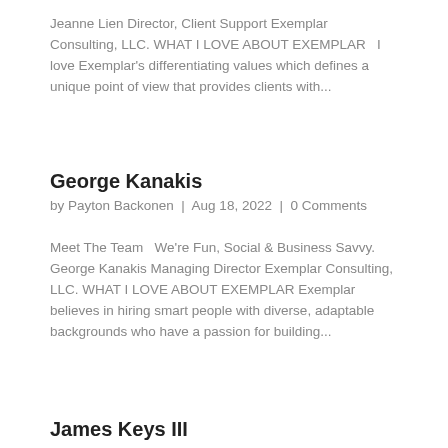Jeanne Lien Director, Client Support Exemplar Consulting, LLC. WHAT I LOVE ABOUT EXEMPLAR   I love Exemplar's differentiating values which defines a unique point of view that provides clients with...
George Kanakis
by Payton Backonen | Aug 18, 2022 | 0 Comments
Meet The Team   We're Fun, Social & Business Savvy. George Kanakis Managing Director Exemplar Consulting, LLC. WHAT I LOVE ABOUT EXEMPLAR Exemplar believes in hiring smart people with diverse, adaptable backgrounds who have a passion for building...
James Keys III